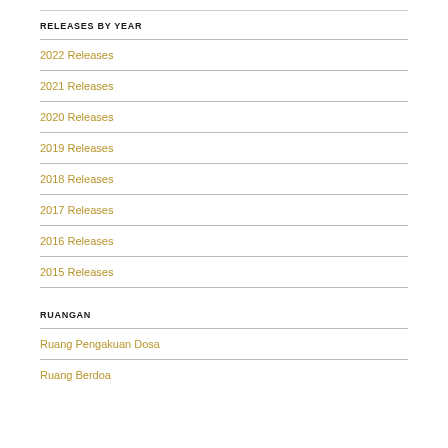RELEASES BY YEAR
2022 Releases
2021 Releases
2020 Releases
2019 Releases
2018 Releases
2017 Releases
2016 Releases
2015 Releases
RUANGAN
Ruang Pengakuan Dosa
Ruang Berdoa